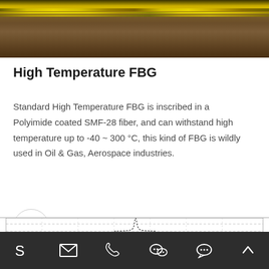[Figure (photo): Close-up photo of a yellow fiber optic cable or similar optical fiber strand against a dark brownish background]
High Temperature FBG
Standard High Temperature FBG is inscribed in a Polyimide coated SMF-28 fiber, and can withstand high temperature up to -40 ~ 300 °C, this kind of FBG is wildly used in Oil & Gas, Aerospace industries.
[Figure (continuous-plot): Partial view of a chart showing a narrow peak waveform on a grid, appears to be a spectral reflection plot of an FBG]
Navigation bar with icons: Skype, Email, Phone, WeChat, Chat, Up arrow